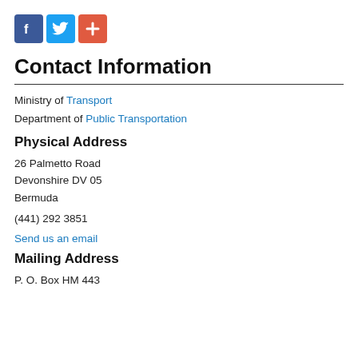[Figure (infographic): Three social media icon buttons: Facebook (blue square with white F), Twitter (light blue square with white bird), and a red-orange square with white plus sign.]
Contact Information
Ministry of Transport
Department of Public Transportation
Physical Address
26 Palmetto Road
Devonshire DV 05
Bermuda
(441) 292 3851
Send us an email
Mailing Address
P. O. Box HM 443